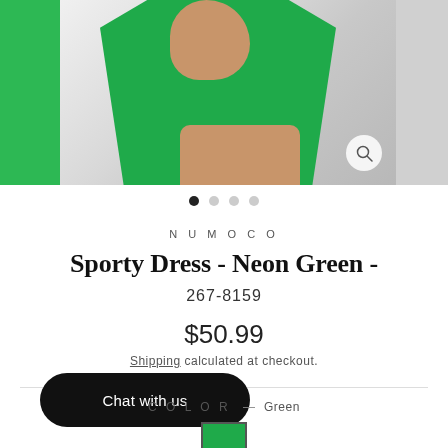[Figure (photo): E-commerce product page photo showing a green sporty dress on a model, with a green panel on the left side and grey panel on the right. A zoom/magnify icon is in the bottom right of the main image.]
NUMOCO
Sporty Dress - Neon Green -
267-8159
$50.99
Shipping calculated at checkout.
Chat with us
COLOR — Green